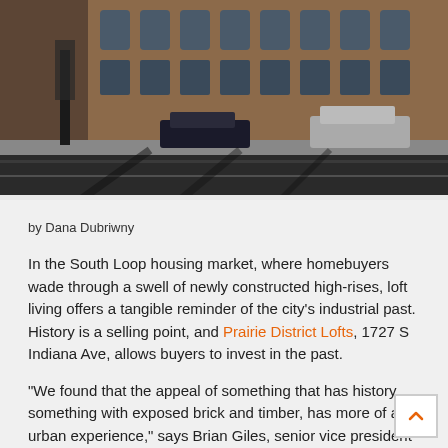[Figure (photo): Street-level photo of a brick industrial/loft building with cars parked in front, bare trees, taken in winter daylight.]
by Dana Dubriwny
In the South Loop housing market, where homebuyers wade through a swell of newly constructed high-rises, loft living offers a tangible reminder of the city's industrial past. History is a selling point, and Prairie District Lofts, 1727 S Indiana Ave, allows buyers to invest in the past.
"We found that the appeal of something that has history, something with exposed brick and timber, has more of an urban experience," says Brian Giles, senior vice president of Kargil Development. "More so than the new construction, which can be found anywhere. These types of buildings are 100 years old and